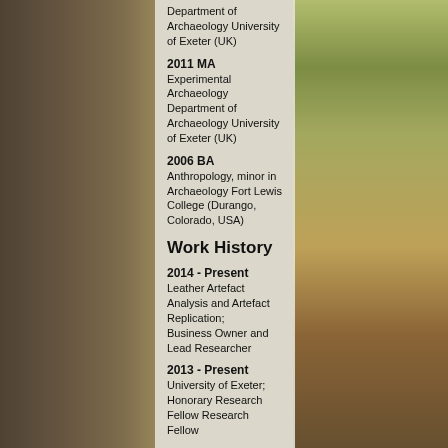Department of Archaeology University of Exeter (UK)
2011 MA
Experimental Archaeology Department of Archaeology University of Exeter (UK)
2006 BA
Anthropology, minor in Archaeology Fort Lewis College (Durango, Colorado, USA)
Work History
2014 - Present
Leather Artefact Analysis and Artefact Replication;
Business Owner and Lead Researcher
2013 - Present
University of Exeter;
Honorary Research Fellow Research Fellow
2004 - Present